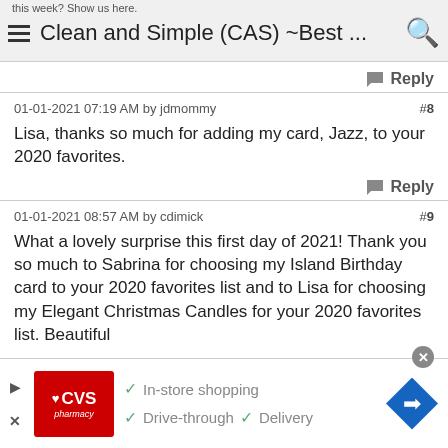this week? Show us here. Clean and Simple (CAS) ~Best ...
Reply
01-01-2021 07:19 AM by jdmommy #8
Lisa, thanks so much for adding my card, Jazz, to your 2020 favorites.
Reply
01-01-2021 08:57 AM by cdimick #9
What a lovely surprise this first day of 2021! Thank you so much to Sabrina for choosing my Island Birthday card to your 2020 favorites list and to Lisa for choosing my Elegant Christmas Candles for your 2020 favorites list. Beautiful
[Figure (screenshot): CVS Pharmacy advertisement banner showing logo, In-store shopping, Drive-through, and Delivery checkmarks, with a blue navigation arrow icon]